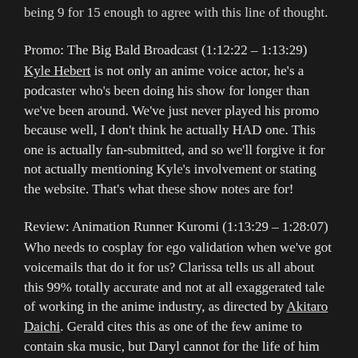being 9 for 15 enough to agree with this line of thought.
Promo: The Big Bald Broadcast (1:12:22 – 1:13:29)
Kyle Hebert is not only an anime voice actor, he's a podcaster who's been doing his show for longer than we've been around. We've just never played his promo because well, I don't think he actually HAD one. This one is actually fan-submitted, and so we'll forgive it for not actually mentioning Kyle's involvement or stating the website. That's what these show notes are for!
Review: Animation Runner Kuromi (1:13:29 – 1:28:07)
Who needs to cosplay for ego validation when we've got voicemails that do it for us? Clarissa tells us all about this 99% totally accurate and not at all exaggerated tale of working in the anime industry, as directed by Akitaro Daichi. Gerald cites this as one of the few anime to contain ska music, but Daryl cannot for the life of him remember any other music being used throughout this